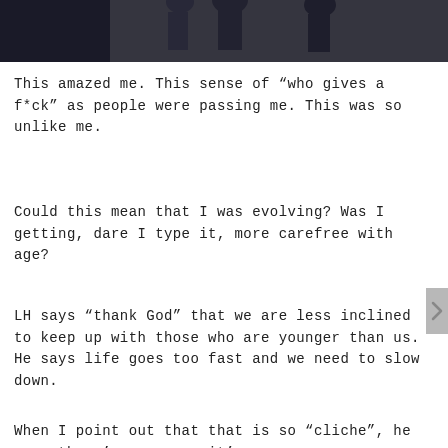[Figure (photo): Partial view of people in dark clothing against a dark background, cropped at top of page]
This amazed me. This sense of “who gives a f*ck” as people were passing me. This was so unlike me.
Could this mean that I was evolving? Was I getting, dare I type it, more carefree with age?
LH says “thank God” that we are less inclined to keep up with those who are younger than us. He says life goes too fast and we need to slow down.
When I point out that that is so “cliche”, he says there’s a reason it’s